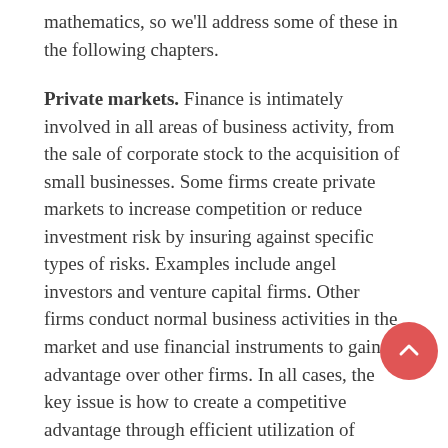mathematics, so we'll address some of these in the following chapters.
Private markets. Finance is intimately involved in all areas of business activity, from the sale of corporate stock to the acquisition of small businesses. Some firms create private markets to increase competition or reduce investment risk by insuring against specific types of risks. Examples include angel investors and venture capital firms. Other firms conduct normal business activities in the market and use financial instruments to gain an advantage over other firms. In all cases, the key issue is how to create a competitive advantage through efficient utilization of existing resources.
Central banks. Central banks play an important role in financing the economy by providing interest rates, credit controls, and other monetary interventions. These banks usually operate in the form of governments, commercial banks, or central banking